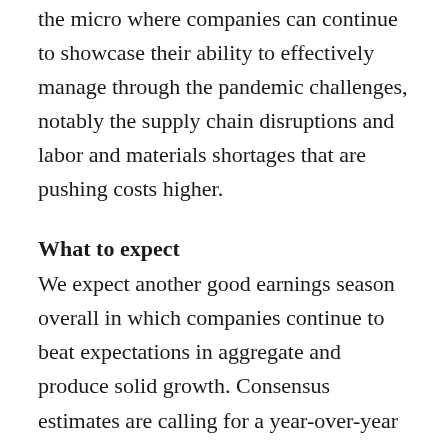the micro where companies can continue to showcase their ability to effectively manage through the pandemic challenges, notably the supply chain disruptions and labor and materials shortages that are pushing costs higher.
What to expect
We expect another good earnings season overall in which companies continue to beat expectations in aggregate and produce solid growth. Consensus estimates are calling for a year-over-year